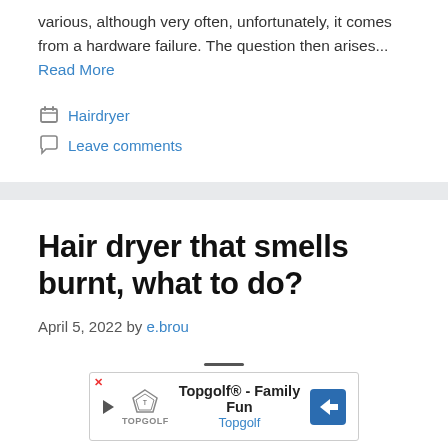various, although very often, unfortunately, it comes from a hardware failure. The question then arises... Read More
Hairdryer
Leave comments
Hair dryer that smells burnt, what to do?
April 5, 2022 by e.brou
[Figure (other): Advertisement banner for Topgolf - Family Fun, Topgolf]